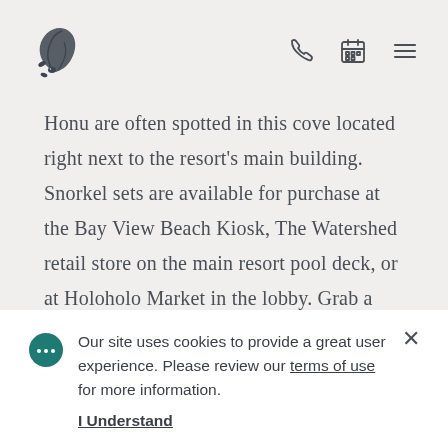[Figure (logo): Tropical leaf/monstera logo icon in dark gray]
[Figure (infographic): Navigation icons: phone, calendar, hamburger menu]
Honu are often spotted in this cove located right next to the resort's main building. Snorkel sets are available for purchase at the Bay View Beach Kiosk, The Watershed retail store on the main resort pool deck, or at Holoholo Market in the lobby. Grab a mask and explore in
Our site uses cookies to provide a great user experience. Please review our terms of use for more information.
I Understand